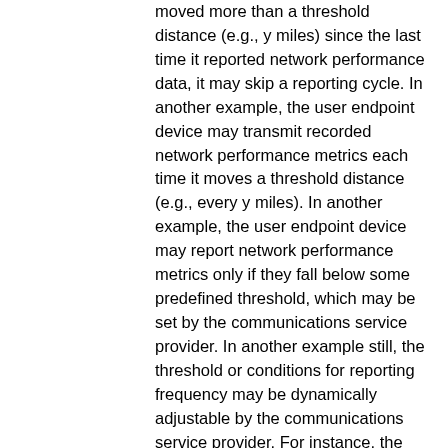moved more than a threshold distance (e.g., y miles) since the last time it reported network performance data, it may skip a reporting cycle. In another example, the user endpoint device may transmit recorded network performance metrics each time it moves a threshold distance (e.g., every y miles). In another example, the user endpoint device may report network performance metrics only if they fall below some predefined threshold, which may be set by the communications service provider. In another example still, the threshold or conditions for reporting frequency may be dynamically adjustable by the communications service provider. For instance, the communications service provider may wish to increase reporting frequency in certain locations during peak traffic periods or when a natural disaster occurs. Conversely, reporting frequency may be decreased in certain locations during periods of lower network usage (e.g., overnight). In a similar manner, the communications service provider may also dynamically adjust the types of data that